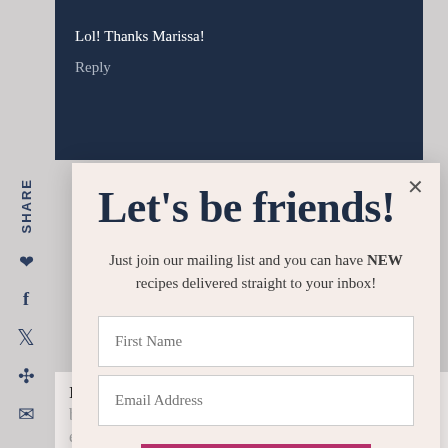Lol! Thanks Marissa!
Reply
Let's be friends!
Just join our mailing list and you can have NEW recipes delivered straight to your inbox!
First Name
Email Address
SUBSCRIBE
I've never added jam to a cocktail before, but I think I need to give this a try – especially with my blackberry jam I made